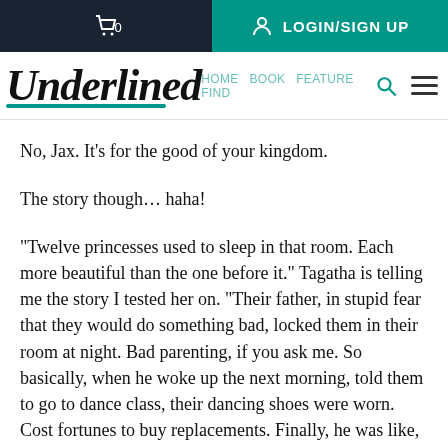LOGIN/SIGN UP (cart icon with 0)
[Figure (logo): Underlined logo in cursive/script font with teal underline, search icon, hamburger menu icon]
No, Jax. It’s for the good of your kingdom.
The story though… haha!
“Twelve princesses used to sleep in that room. Each more beautiful than the one before it.” Tagatha is telling me the story I tested her on. “Their father, in stupid fear that they would do something bad, locked them in their room at night. Bad parenting, if you ask me. So basically, when he woke up the next morning, told them to go to dance class, their dancing shoes were worn. Cost fortunes to buy replacements. Finally, he was like, ‘tell me what happens to your shoes.’ But they were like, ‘If you stop locking our room at night for two years, we shall tell you’